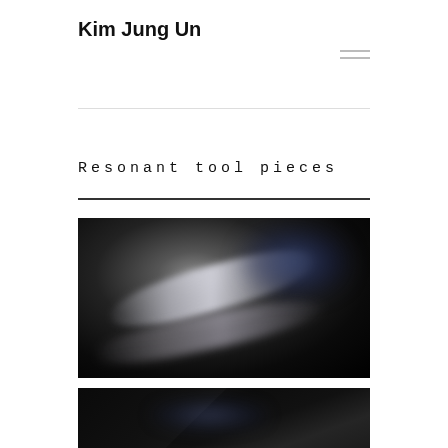Kim Jung Un
Resonant tool pieces
[Figure (photo): Dark, blurred photo of a metallic tool or instrument on a black background, possibly a chisel or blade with blurred reflective surface]
[Figure (photo): Dark, nearly black photo showing geometric angular shapes, possibly a dark surface or abstract form]